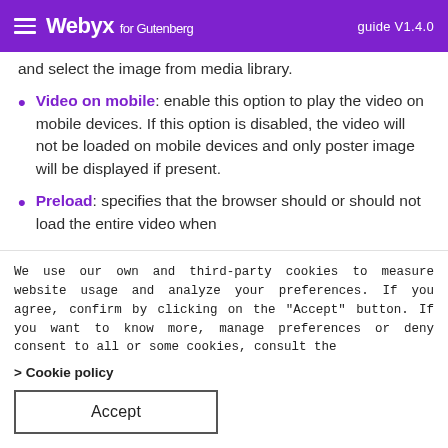Webyx for Gutenberg — guide V1.4.0
and select the image from media library.
Video on mobile: enable this option to play the video on mobile devices. If this option is disabled, the video will not be loaded on mobile devices and only poster image will be displayed if present.
Preload: specifies that the browser should or should not load the entire video when
We use our own and third-party cookies to measure website usage and analyze your preferences. If you agree, confirm by clicking on the "Accept" button. If you want to know more, manage preferences or deny consent to all or some cookies, consult the
> Cookie policy
Accept